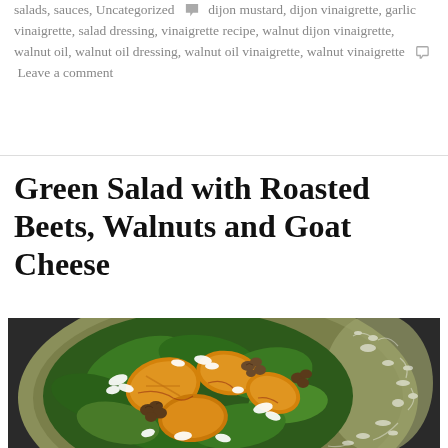salads, sauces, Uncategorized  🏷 dijon mustard, dijon vinaigrette, garlic vinaigrette, salad dressing, vinaigrette recipe, walnut dijon vinaigrette, walnut oil, walnut oil dressing, walnut oil vinaigrette, walnut vinaigrette  💬 Leave a comment
Green Salad with Roasted Beets, Walnuts and Goat Cheese
[Figure (photo): A green salad with roasted golden beets, walnuts, and white goat cheese crumbles on a decorative green and white plate, photographed from above on a dark background.]